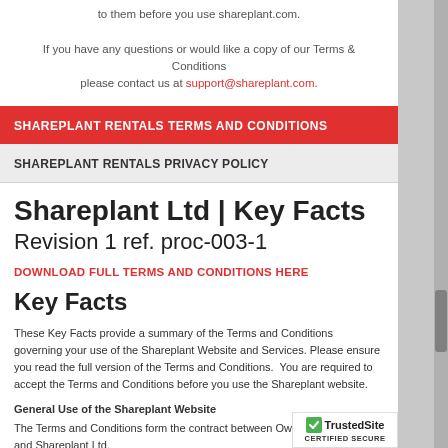If you have any questions or would like a copy of our Terms & Conditions please contact us at support@shareplant.com.
SHAREPLANT RENTALS TERMS AND CONDITIONS
SHAREPLANT RENTALS PRIVACY POLICY
Shareplant Ltd | Key Facts
Revision 1 ref. proc-003-1
DOWNLOAD FULL TERMS AND CONDITIONS HERE
Key Facts
These Key Facts provide a summary of the Terms and Conditions governing your use of the Shareplant Website and Services. Please ensure you read the full version of the Terms and Conditions.  You are required to accept the Terms and Conditions before you use the Shareplant website.
General Use of the Shareplant Website
The Terms and Conditions form the contract between Owner, H... and Shareplant Ltd.